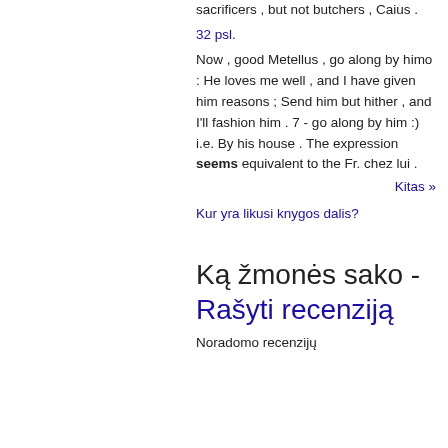sacrificers , but not butchers , Caius .
32 psl.
Now , good Metellus , go along by himo : He loves me well , and I have given him reasons ; Send him but hither , and I'll fashion him . 7 - go along by him :) i.e. By his house . The expression seems equivalent to the Fr. chez lui .
Kitas »
Kur yra likusi knygos dalis?
Ką žmonės sako - Rašyti recenziją
Noradomo recenzijų